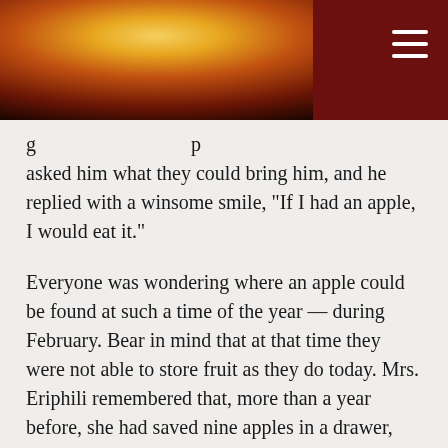[Figure (photo): Header image showing a candlelit scene with warm orange and red tones, possibly an interior with a candle flame visible, with a dark red banner on the right side containing a hamburger menu icon.]
g … p asked him what they could bring him, and he replied with a winsome smile, "If I had an apple, I would eat it."

Everyone was wondering where an apple could be found at such a time of the year — during February. Bear in mind that at that time they were not able to store fruit as they do today. Mrs. Eriphili remembered that, more than a year before, she had saved nine apples in a drawer, but doubted whether one of them would still be in good condition. She set off for home and told her husband about this and about the prediction regarding the ship. This callous and implaca¬ble detractor of Papoulakis then said to his wife, "If you find a good apple then I'll believe that he's a holy